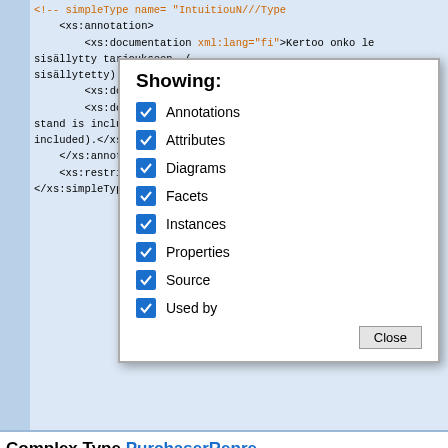[Figure (screenshot): XML schema code block showing xs:annotation, xs:documentation elements with Finnish and English text, and xs:restriction element. Background is light blue.]
[Figure (screenshot): Modal dialog titled 'Showing:' with checkboxes for Annotations, Attributes, Diagrams, Facets, Instances, Properties, Source, Used by — all checked. Close button at bottom right.]
Complex Type PurchaserRepre...
| Namespace | Annotations | Diagram |
| --- | --- | --- |
| http://standardit.tapio.fi/schemas/workingsitetrade/offerworkingsite/2... |
| Ostajan edustaja työmaahan liittyvissä käytännön kysymyksissä.
Representative person for this particular working site (not necessaril... |
| [diagram image] |
[Figure (engineering-diagram): XML schema diagram showing ci:Cont... complex type with attribute @ attrib... and elements @ id and Henkilö/or... tiedorsäid...]